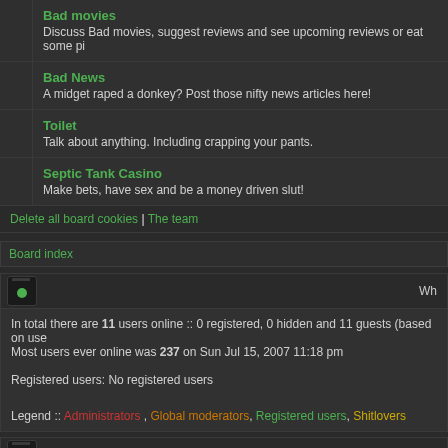Bad movies
Discuss Bad movies, suggest reviews and see upcoming reviews or eat some pi
Bad News
A midget raped a donkey? Post those nifty news articles here!
Toilet
Talk about anything. Including crapping your pants.
Septic Tank Casino
Make bets, have sex and be a money driven slut!
Delete all board cookies | The team
Board index
In total there are 11 users online :: 0 registered, 0 hidden and 11 guests (based on use
Most users ever online was 237 on Sun Jul 15, 2007 11:18 pm

Registered users: No registered users

Legend :: Administrators, Global moderators, Registered users, Shitlovers
Total posts 141074 | Total topics 11983 | Total members 3621 | Our newest member flo